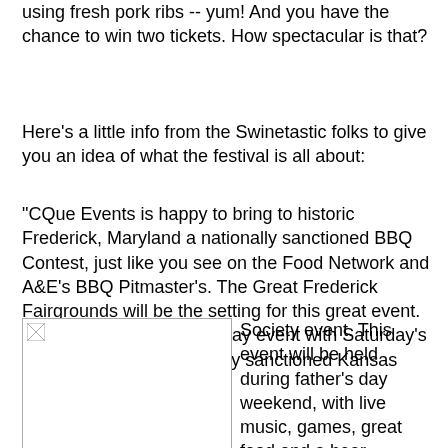using fresh pork ribs -- yum! And you have the chance to win two tickets. How spectacular is that?
Here's a little info from the Swinetastic folks to give you an idea of what the festival is all about:
"CQue Events is happy to bring to historic Frederick, Maryland a nationally sanctioned BBQ Contest, just like you see on the Food Network and A&E's BBQ Pitmaster's. The Great Frederick Fairgrounds will be the setting for this great event. The festival will be a two day event with Saturday's contest being the nationally sanctioned Kansas City BBQ Society event. This event will be held during father's day weekend, with live music, games, great food and a beer garden!! Proceeds will benefit the American Cancer Society and the Frederick County Mental Health Association.. Come out and see BBQ teams from all over the country compete for great prizes and trophies.  "
[Figure (photo): Broken/placeholder image on the left side]
[Figure (photo): Broken/placeholder image on the right side]